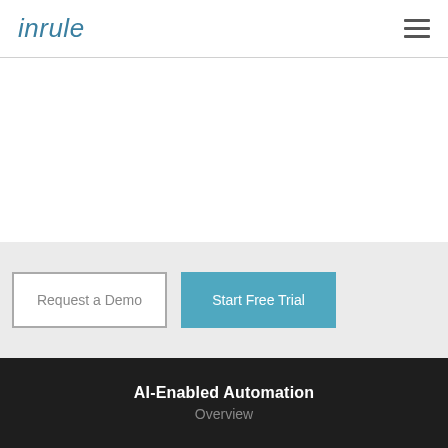inrule
[Figure (screenshot): White empty content area below navigation header]
Request a Demo
Start Free Trial
AI-Enabled Automation
Overview